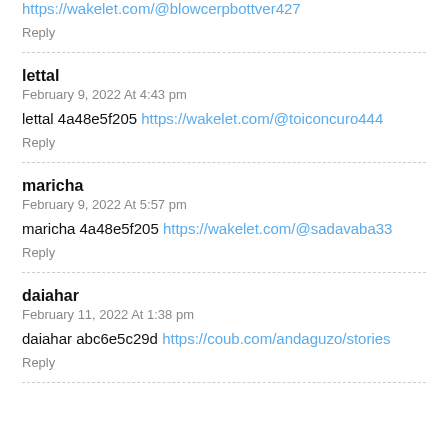https://wakelet.com/@blowcerpbottver427
Reply
lettal
February 9, 2022 At 4:43 pm
lettal 4a48e5f205 https://wakelet.com/@toiconcuro444
Reply
maricha
February 9, 2022 At 5:57 pm
maricha 4a48e5f205 https://wakelet.com/@sadavaba33
Reply
daiahar
February 11, 2022 At 1:38 pm
daiahar abc6e5c29d https://coub.com/andaguzo/stories
Reply